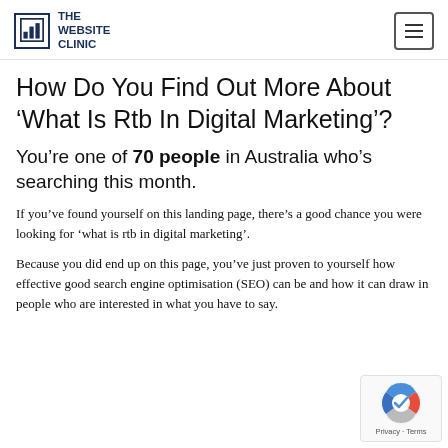THE WEBSITE CLINIC
How Do You Find Out More About ‘What Is Rtb In Digital Marketing’?
You’re one of 70 people in Australia who’s searching this month.
If you’ve found yourself on this landing page, there’s a good chance you were looking for ‘what is rtb in digital marketing’.
Because you did end up on this page, you’ve just proven to yourself how effective good search engine optimisation (SEO) can be and how it can draw in people who are interested in what you have to say.
[Figure (logo): reCAPTCHA privacy badge with Google logo, showing 'Privacy - Terms' text]